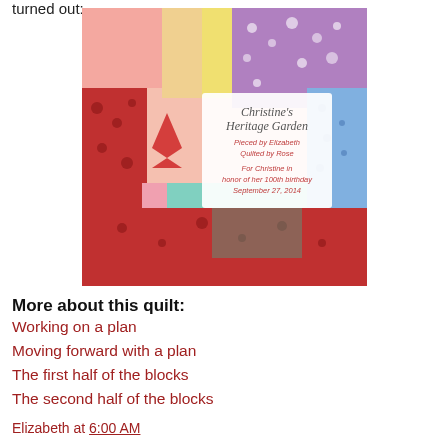turned out:
[Figure (photo): A colorful patchwork quilt with a label reading 'Christine's Heritage Garden, Pieced by Elizabeth, Quilted by Rose, For Christine in honor of her 100th birthday, September 27, 2014']
More about this quilt:
Working on a plan
Moving forward with a plan
The first half of the blocks
The second half of the blocks
Elizabeth at 6:00 AM